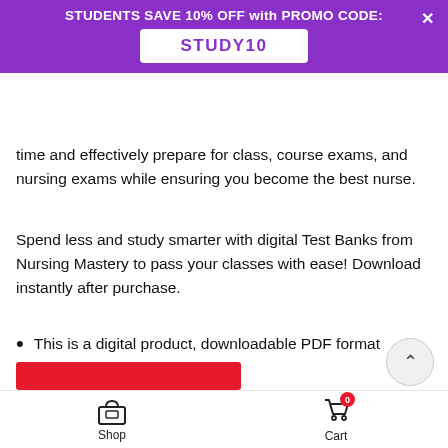STUDENTS SAVE 10% OFF with PROMO CODE: STUDY10
time and effectively prepare for class, course exams, and nursing exams while ensuring you become the best nurse.
Spend less and study smarter with digital Test Banks from Nursing Mastery to pass your classes with ease! Download instantly after purchase.
This is a digital product, downloadable PDF format ONLY.
Delivery is INSTANT after checkout.
All orders are safe, secure, and confidential.
Shop   Cart